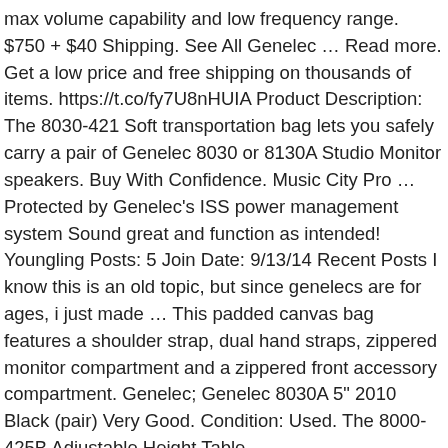max volume capability and low frequency range. $750 + $40 Shipping. See All Genelec … Read more. Get a low price and free shipping on thousands of items. https://t.co/fy7U8nHUIA Product Description: The 8030-421 Soft transportation bag lets you safely carry a pair of Genelec 8030 or 8130A Studio Monitor speakers. Buy With Confidence. Music City Pro … Protected by Genelec's ISS power management system Sound great and function as intended! Youngling Posts: 5 Join Date: 9/13/14 Recent Posts I know this is an old topic, but since genelecs are for ages, i just made … This padded canvas bag features a shoulder strap, dual hand straps, zippered monitor compartment and a zippered front accessory compartment. Genelec; Genelec 8030A 5" 2010 Black (pair) Very Good. Condition: Used. The 8000-425B Adjustable Height Table